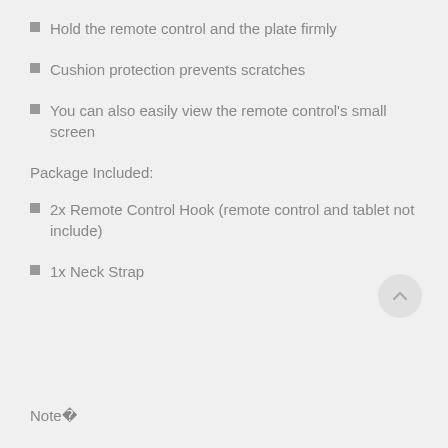Hold the remote control and the plate firmly
Cushion protection prevents scratches
You can also easily view the remote control's small screen
Package Included:
2x Remote Control Hook (remote control and tablet not include)
1x Neck Strap
Note�